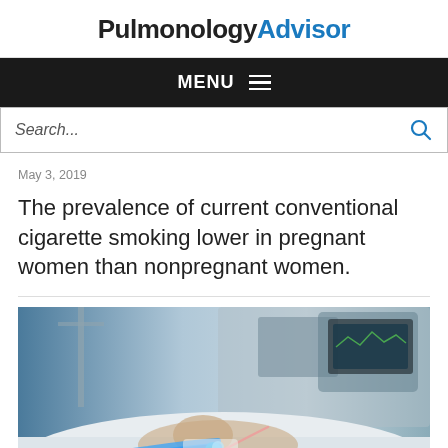PulmonologyAdvisor
MENU
Search...
May 3, 2019
The prevalence of current conventional cigarette smoking lower in pregnant women than nonpregnant women.
[Figure (photo): A newborn or premature infant in an ICU/NICU setting, connected to multiple medical devices including ventilator tubes, IV lines, and monitoring equipment, lying in white medical linens.]